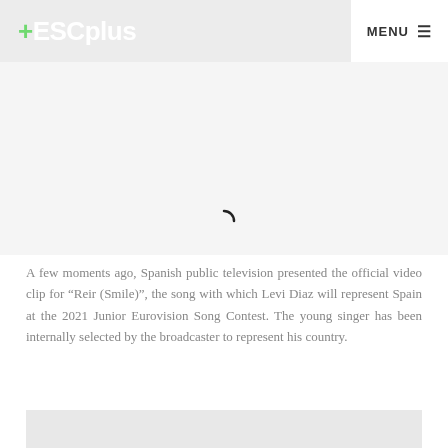+ESCplus  MENU
[Figure (other): White/light gray rectangular advertisement or media placeholder area with a loading spinner arc in the center]
A few moments ago, Spanish public television presented the official video clip for “Reir (Smile)”, the song with which Levi Diaz will represent Spain at the 2021 Junior Eurovision Song Contest. The young singer has been internally selected by the broadcaster to represent his country.
[Figure (photo): Partially visible image at the bottom of the page, light gray tones suggesting a photo loading or a faded image]